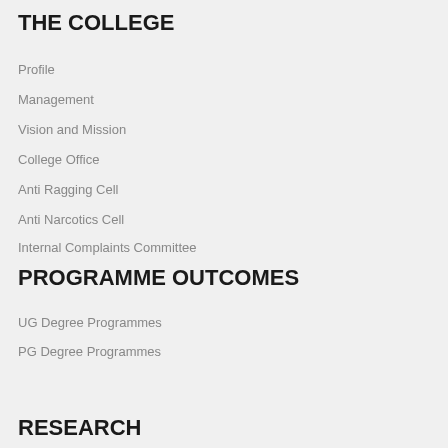THE COLLEGE
Profile
Management
Vision and Mission
College Office
Anti Ragging Cell
Anti Narcotics Cell
Internal Complaints Committee
PROGRAMME OUTCOMES
UG Degree Programmes
PG Degree Programmes
RESEARCH